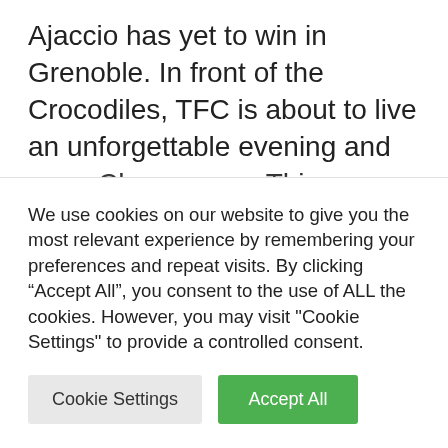Ajaccio has yet to win in Grenoble. In front of the Crocodiles, TFC is about to live an unforgettable evening and open Champagne. This meeting will likely sell out because, four days before this meeting, 20,053 places have already been sold. The context will change Nimes from their daily lives, they who usually play with an average of 1,853 spectators and whose guest record this season is 9,082 spectators at Gancer on...
We use cookies on our website to give you the most relevant experience by remembering your preferences and repeat visits. By clicking “Accept All”, you consent to the use of ALL the cookies. However, you may visit "Cookie Settings" to provide a controlled consent.